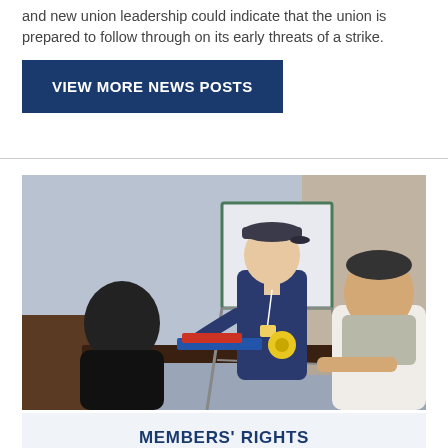and new union leadership could indicate that the union is prepared to follow through on its early threats of a strike.
VIEW MORE NEWS POSTS
[Figure (photo): Three men around a table in a meeting room. A man in a dark jacket and cap stands gesturing, while two others sit listening. A blank flip chart easel stands in the background.]
MEMBERS' RIGHTS